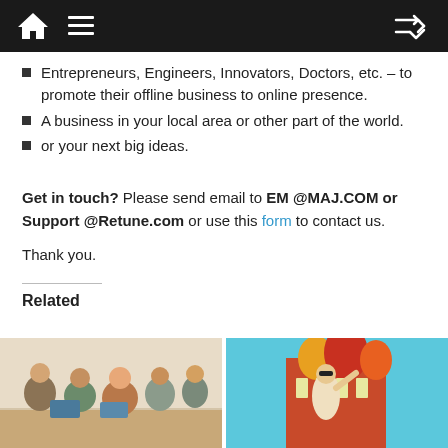[Navigation bar with home, menu, and shuffle icons]
Entrepreneurs, Engineers, Innovators, Doctors, etc. – to promote their offline business to online presence.
A business in your local area or other part of the world.
or your next big ideas.
Get in touch? Please send email to EM @MAJ.COM or Support @Retune.com or use this form to contact us.
Thank you.
Related
[Figure (photo): Group of people working together at computers]
[Figure (photo): Woman posing in front of colorful building]